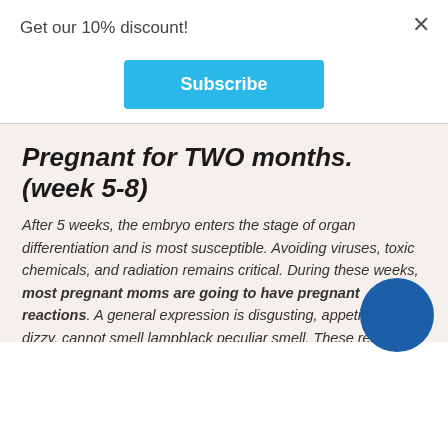Get our 10% discount!
[Figure (other): Subscribe button (cyan/blue) with white bold text]
Pregnant for TWO months. (week 5-8)
After 5 weeks, the embryo enters the stage of organ differentiation and is most susceptible. Avoiding viruses, toxic chemicals, and radiation remains critical. During these weeks, most pregnant moms are going to have pregnant reactions. A general expression is disgusting, appetite drops, dizzy, cannot smell lampblack peculiar smell. These reactions naturally